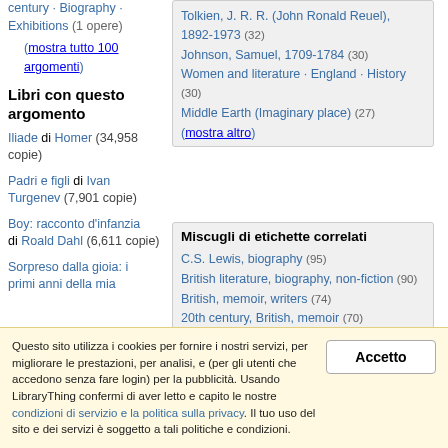century · Biography · Exhibitions (1 opere)
(mostra tutto 100 argomenti)
Libri con questo argomento
Iliade di Homer (34,958 copie)
Padri e figli di Ivan Turgenev (7,901 copie)
Boy: racconto d'infanzia di Roald Dahl (6,611 copie)
Sorpreso dalla gioia: i primi anni della mia
Tolkien, J. R. R. (John Ronald Reuel), 1892-1973 (32)
Johnson, Samuel, 1709-1784 (30)
Women and literature · England · History (30)
Middle Earth (Imaginary place) (27)
(mostra altro)
Miscugli di etichette correlati
C.S. Lewis, biography (95)
British literature, biography, non-fiction (90)
British, memoir, writers (74)
20th century, British, memoir (70)
England, autobiography (67)
British, memoir (66)
20th century, England, memoir (63)
England, memoir (58)
authors, bio (57)
authors, biography, history (57)
Questo sito utilizza i cookies per fornire i nostri servizi, per migliorare le prestazioni, per analisi, e (per gli utenti che accedono senza fare login) per la pubblicità. Usando LibraryThing confermi di aver letto e capito le nostre condizioni di servizio e la politica sulla privacy. Il tuo uso del sito e dei servizi è soggetto a tali politiche e condizioni.